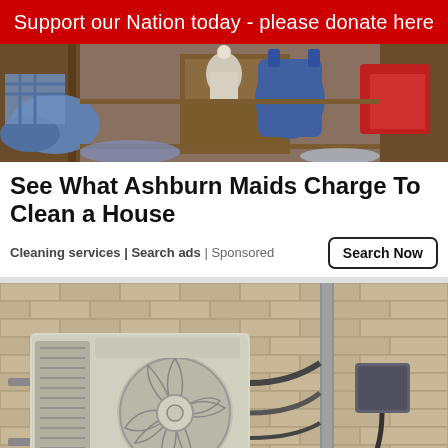Support our Nation today - please donate here
[Figure (photo): Messy room/closet with clothes scattered on shelves and floor, blue bag, red item visible]
See What Ashburn Maids Charge To Clean a House
Cleaning services | Search ads | Sponsored
[Figure (photo): Outdoor mini-split air conditioning unit mounted on a brick wall, with conduit and electrical box]